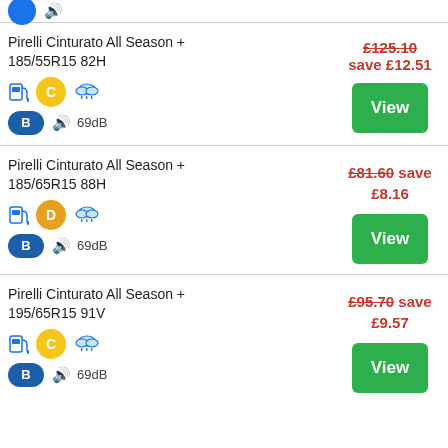Pirelli Cinturato All Season + 185/55R15 82H — C rating, B wet, 69dB — £125.10 save £12.51
Pirelli Cinturato All Season + 185/65R15 88H — D rating, B wet, 69dB — £81.60 save £8.16
Pirelli Cinturato All Season + 195/65R15 91V — C rating, B wet, 69dB — £95.70 save £9.57